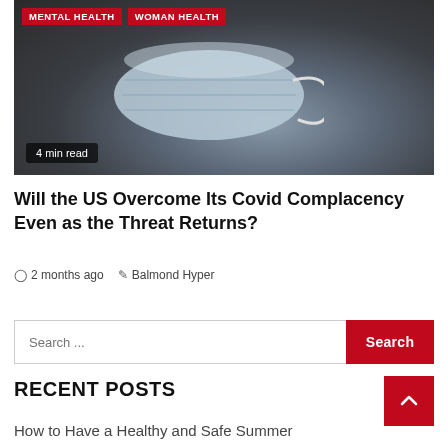[Figure (photo): A discarded blue surgical face mask lying on dark asphalt pavement, shot in muted tones. Red category tags 'MENTAL HEALTH' and 'WOMAN HEALTH' appear at the top left of the image. A '4 min read' badge appears at the bottom left.]
Will the US Overcome Its Covid Complacency Even as the Threat Returns?
2 months ago   Balmond Hyper
Search ...
RECENT POSTS
How to Have a Healthy and Safe Summer